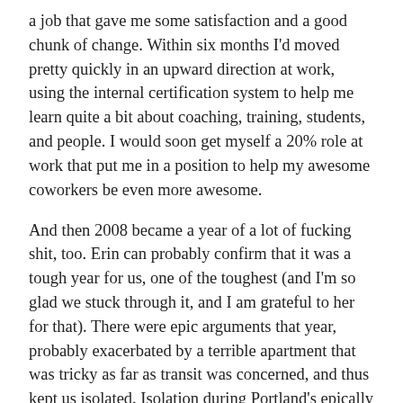a job that gave me some satisfaction and a good chunk of change. Within six months I'd moved pretty quickly in an upward direction at work, using the internal certification system to help me learn quite a bit about coaching, training, students, and people. I would soon get myself a 20% role at work that put me in a position to help my awesome coworkers be even more awesome.
And then 2008 became a year of a lot of fucking shit, too. Erin can probably confirm that it was a tough year for us, one of the toughest (and I'm so glad we stuck through it, and I am grateful to her for that). There were epic arguments that year, probably exacerbated by a terrible apartment that was tricky as far as transit was concerned, and thus kept us isolated. Isolation during Portland's epically rainy winters? Not good. No wonder why our anchor in that neighborhood was our coffeeshop.
And the job became progressively worse, became more of a grind, something that seemed to be chewing up some of my favorite people and spitting them out. One of our managers kinda flipped her shit (I imagine, based on heresay and what